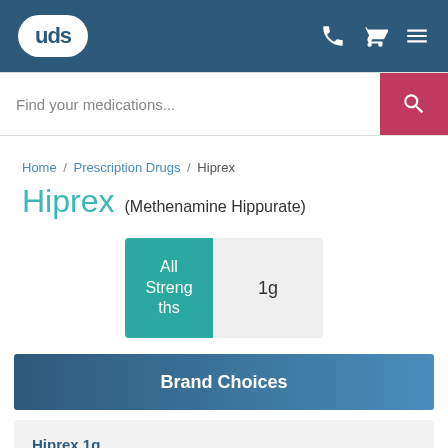[Figure (logo): UDS pharmacy logo in white oval on dark blue header with phone, cart, and menu icons]
Find your medications...
Home / Prescription Drugs / Hiprex
Hiprex (Methenamine Hippurate)
All Strengths
1g
Brand Choices
Hiprex 1g